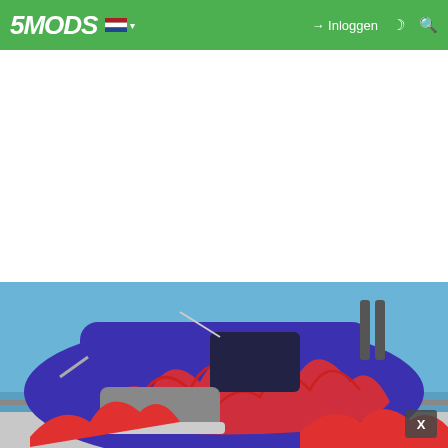5MODS — Inloggen navigation bar with Dutch flag and search icons
[Figure (photo): A blue and red semi-truck (styled as Optimus Prime from Transformers) with flame decals, photographed against a clear blue sky near a waterfront road. A grey close button (X) is visible in the lower right corner of the image.]